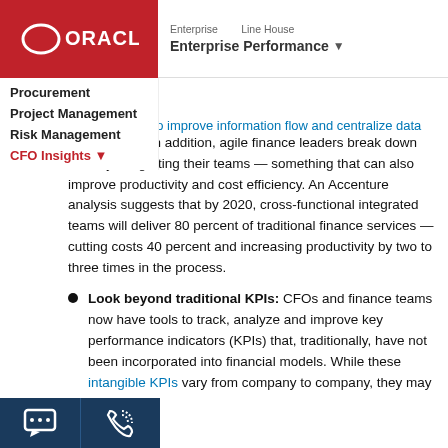ORACLE | Enterprise Performance ▾ | Enterprise | Line House
finance teams to improve information flow and centralize data for easy access. In addition, agile finance leaders break down silos by integrating their teams — something that can also improve productivity and cost efficiency. An Accenture analysis suggests that by 2020, cross-functional integrated teams will deliver 80 percent of traditional finance services —cutting costs 40 percent and increasing productivity by two to three times in the process.
Look beyond traditional KPIs: CFOs and finance teams now have tools to track, analyze and improve key performance indicators (KPIs) that, traditionally, have not been incorporated into financial models. While these intangible KPIs vary from company to company, they may include customer satisfaction, business processes, customer relationships, human capital and brand reputation. CFOs are using this data to make more accurate forecasts, minimize risk and identify new opportunities.
Develop key skill sets: Not only are agile finance leaders more likely to rate the skills of their finance team overall as excellent, but they also place a premium on skills they need to more agile future. For example, 60 percent of agile finance heir team's data visualization skills are excellent 24 of other leaders. Sixty percent of agile finance